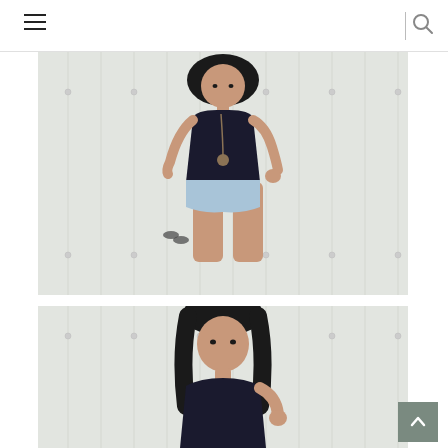Navigation header with hamburger menu and search icon
[Figure (photo): Young woman with dark hair wearing a black bodyless top and light blue denim cutoff shorts, standing against a white wooden plank wall. She is holding sunglasses in one hand and touching her hair with the other, wearing a long boho necklace.]
[Figure (photo): Same young woman with dark hair wearing a black top, standing against the same white wooden plank wall background. This is a closer crop showing her from the waist up, looking directly at camera with hand near her shoulder.]